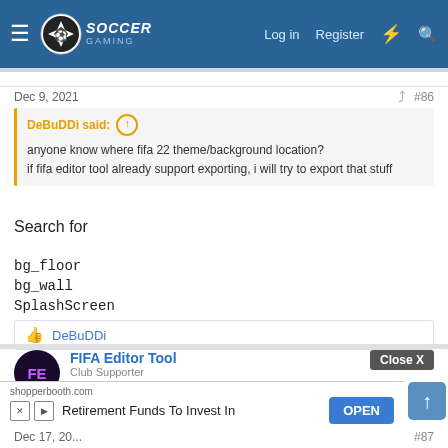Soccer Gaming — Log in | Register
Dec 9, 2021   #86
DeBuDDi said:
anyone know where fifa 22 theme/background location?
if fifa editor tool already support exporting, i will try to export that stuff
Search for
bg_floor
bg_wall
SplashScreen
👍 DeBuDDi
FIFA Editor Tool
Club Supporter
shopperbooth.com
Retirement Funds To Invest In   OPEN